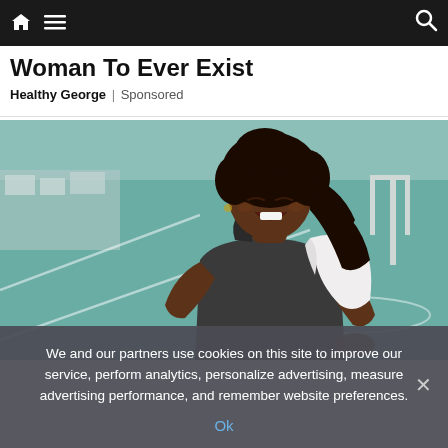Navigation bar with home, menu, and search icons
Woman To Ever Exist
Healthy George | Sponsored
[Figure (photo): A plus-size Black woman laughing joyfully on an outdoor sports court, wearing a dark athletic tank top and a white towel over her shoulder, with a blurred green court background.]
We and our partners use cookies on this site to improve our service, perform analytics, personalize advertising, measure advertising performance, and remember website preferences.
Ok